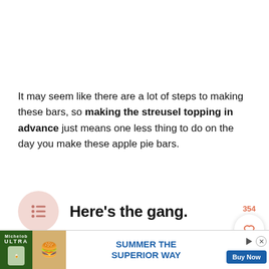It may seem like there are a lot of steps to making these bars, so making the streusel topping in advance just means one less thing to do on the day you make these apple pie bars.
Here's the gang.
354
And to make it easier, let's split up what you need into 3 sections. Don't be intimidated by the 3 layers! It's not as
[Figure (other): Advertisement banner for Michelob Ultra featuring a burger and text 'SUMMER THE SUPERIOR WAY' with a 'Buy Now' button]